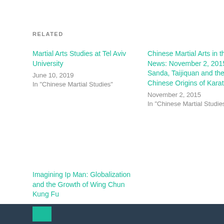RELATED
Martial Arts Studies at Tel Aviv University
June 10, 2019
In "Chinese Martial Studies"
Chinese Martial Arts in the News: November 2, 2015: Sanda, Taijiquan and the Chinese Origins of Karate
November 2, 2015
In "Chinese Martial Studies"
Imagining Ip Man: Globalization and the Growth of Wing Chun Kung Fu
July 9, 2017
In "Chinese Martial Studies"